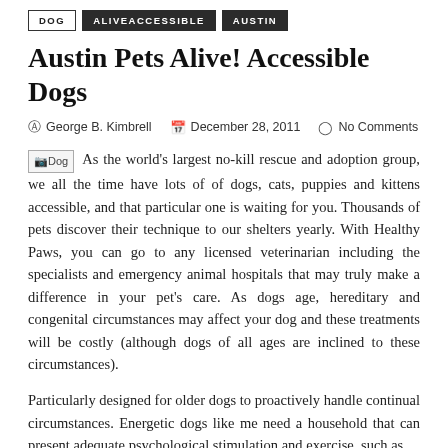DOG
ALIVEACCESSIBLE
AUSTIN
Austin Pets Alive! Accessible Dogs
George B. Kimbrell   December 28, 2011   No Comments
As the world's largest no-kill rescue and adoption group, we all the time have lots of of dogs, cats, puppies and kittens accessible, and that particular one is waiting for you. Thousands of pets discover their technique to our shelters yearly. With Healthy Paws, you can go to any licensed veterinarian including the specialists and emergency animal hospitals that may truly make a difference in your pet's care. As dogs age, hereditary and congenital circumstances may affect your dog and these treatments will be costly (although dogs of all ages are inclined to these circumstances).
Particularly designed for older dogs to proactively handle continual circumstances. Energetic dogs like me need a household that can present adequate psychological stimulation and exercise, such as